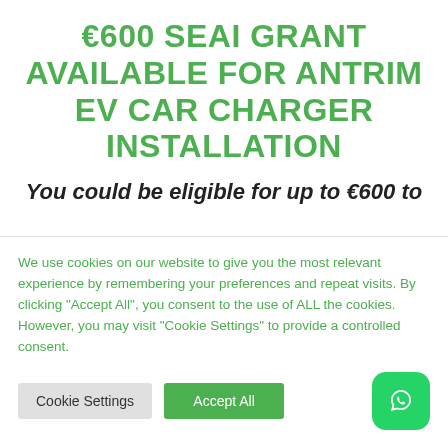€600 SEAI GRANT AVAILABLE FOR ANTRIM EV CAR CHARGER INSTALLATION
You could be eligible for up to €600 to
We use cookies on our website to give you the most relevant experience by remembering your preferences and repeat visits. By clicking "Accept All", you consent to the use of ALL the cookies. However, you may visit "Cookie Settings" to provide a controlled consent.